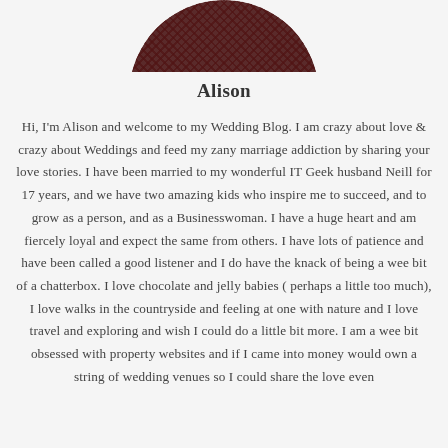[Figure (photo): Circular profile photo of Alison, cropped at top of page showing a plaid/tartan patterned top]
Alison
Hi, I'm Alison and welcome to my Wedding Blog. I am crazy about love & crazy about Weddings and feed my zany marriage addiction by sharing your love stories. I have been married to my wonderful IT Geek husband Neill for 17 years, and we have two amazing kids who inspire me to succeed, and to grow as a person, and as a Businesswoman. I have a huge heart and am fiercely loyal and expect the same from others. I have lots of patience and have been called a good listener and I do have the knack of being a wee bit of a chatterbox. I love chocolate and jelly babies ( perhaps a little too much), I love walks in the countryside and feeling at one with nature and I love travel and exploring and wish I could do a little bit more. I am a wee bit obsessed with property websites and if I came into money would own a string of wedding venues so I could share the love even